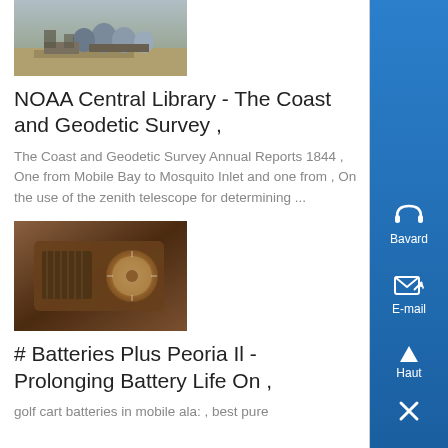[Figure (photo): Aerial or elevated view of an industrial facility with storage tanks and structures]
NOAA Central Library - The Coast and Geodetic Survey ,
The Coast and Geodetic Survey Annual Reports 1844 , One from Mobile Bay to Mosquito Inlet and one from , On the use of the zenith telescope for determining ...
[Figure (photo): Old rusty radio or mechanical device with dial]
# Batteries Plus Peoria Il - Prolonging Battery Life On ,
golf cart batteries in mobile ala: , best pure